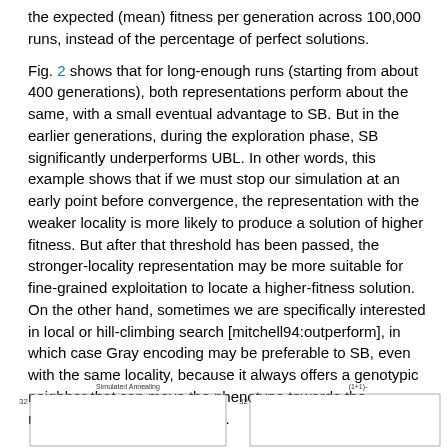the expected (mean) fitness per generation across 100,000 runs, instead of the percentage of perfect solutions.
Fig. 2 shows that for long-enough runs (starting from about 400 generations), both representations perform about the same, with a small eventual advantage to SB. But in the earlier generations, during the exploration phase, SB significantly underperforms UBL. In other words, this example shows that if we must stop our simulation at an early point before convergence, the representation with the weaker locality is more likely to produce a solution of higher fitness. But after that threshold has been passed, the stronger-locality representation may be more suitable for fine-grained exploitation to locate a higher-fitness solution. On the other hand, sometimes we are specifically interested in local or hill-climbing search [mitchell94:outperform], in which case Gray encoding may be preferable to SB, even with the same locality, because it always offers a genotypic neighbor that can move the phenotype towards the maximum [rowe04:properties].
[Figure (other): Two chart panels partially visible at the bottom of the page. Left chart labeled 'Simulated Annealing' with y-axis value 32 visible. Right chart labeled '(1+1)-' with y-axis value 32 visible.]